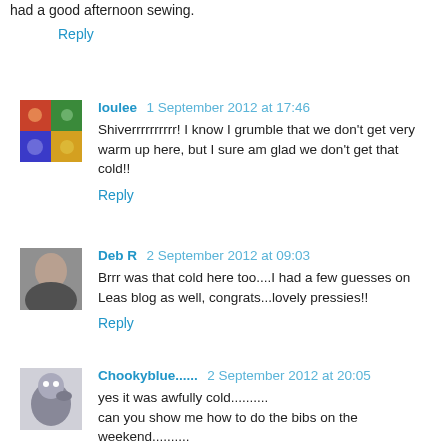had a good afternoon sewing.
Reply
loulee  1 September 2012 at 17:46
Shiverrrrrrrrrr! I know I grumble that we don't get very warm up here, but I sure am glad we don't get that cold!!
Reply
Deb R  2 September 2012 at 09:03
Brrr was that cold here too....I had a few guesses on Leas blog as well, congrats...lovely pressies!!
Reply
Chookyblue......  2 September 2012 at 20:05
yes it was awfully cold......... can you show me how to do the bibs on the weekend.........
Reply